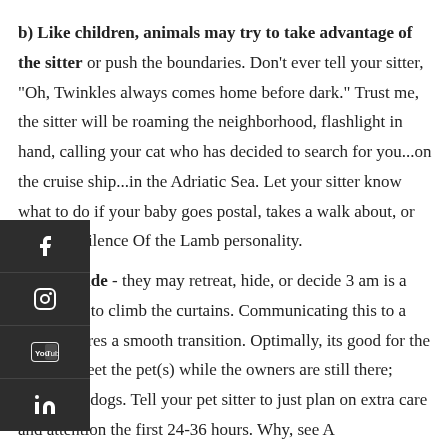b) Like children, animals may try to take advantage of the sitter or push the boundaries. Don't ever tell your sitter, "Oh, Twinkles always comes home before dark." Trust me, the sitter will be roaming the neighborhood, flashlight in hand, calling your cat who has decided to search for you...on the cruise ship...in the Adriatic Sea. Let your sitter know what to do if your baby goes postal, takes a walk about, or adopts a Silence Of the Lamb personality.
The flip side - they may retreat, hide, or decide 3 am is a good time to climb the curtains. Communicating this to a sitter ensures a smooth transition. Optimally, its good for the sitter to meet the pet(s) while the owners are still there; especially dogs. Tell your pet sitter to just plan on extra care and attention the first 24-36 hours. Why, see A